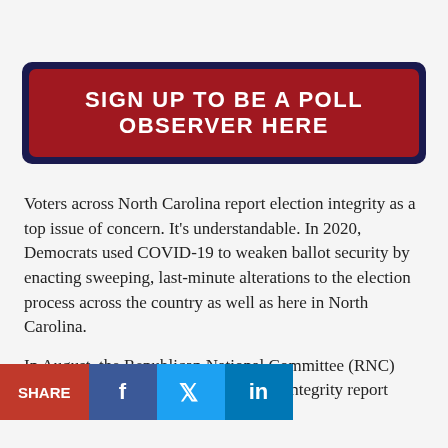SIGN UP TO BE A POLL OBSERVER HERE
Voters across North Carolina report election integrity as a top issue of concern. It's understandable. In 2020, Democrats used COVID-19 to weaken ballot security by enacting sweeping, last-minute alterations to the election process across the country as well as here in North Carolina.
In August, the Republican National Committee (RNC) produced an ex e pa Election Integrity report created in consultation with 30